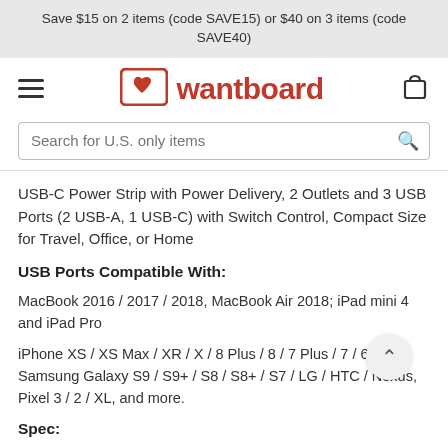Save $15 on 2 items (code SAVE15) or $40 on 3 items (code SAVE40)
[Figure (logo): Wantboard logo with heart icon and red text, hamburger menu icon on left, shopping cart icon on right]
Search for U.S. only items
USB-C Power Strip with Power Delivery, 2 Outlets and 3 USB Ports (2 USB-A, 1 USB-C) with Switch Control, Compact Size for Travel, Office, or Home
USB Ports Compatible With:
MacBook 2016 / 2017 / 2018, MacBook Air 2018; iPad mini 4 and iPad Pro
iPhone XS / XS Max / XR / X / 8 Plus / 8 / 7 Plus / 7 / 6 Plus; Samsung Galaxy S9 / S9+ / S8 / S8+ / S7 / LG / HTC / Nexus, Pixel 3 / 2 / XL, and more.
Spec: